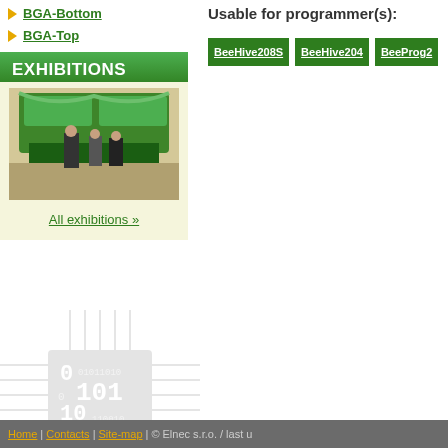BGA-Bottom
BGA-Top
EXHIBITIONS
[Figure (photo): Exhibition booth photo showing green trade show displays with visitors]
All exhibitions »
[Figure (illustration): Decorative circuit board chip graphic with binary numbers]
Usable for programmer(s):
BeeHive208S | BeeHive204 | BeeProg2
Home | Contacts | Site-map | © Elnec s.r.o. / last u